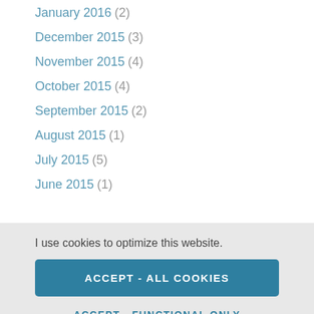January 2016 (2)
December 2015 (3)
November 2015 (4)
October 2015 (4)
September 2015 (2)
August 2015 (1)
July 2015 (5)
June 2015 (1)
I use cookies to optimize this website.
ACCEPT - ALL COOKIES
ACCEPT - FUNCTIONAL ONLY